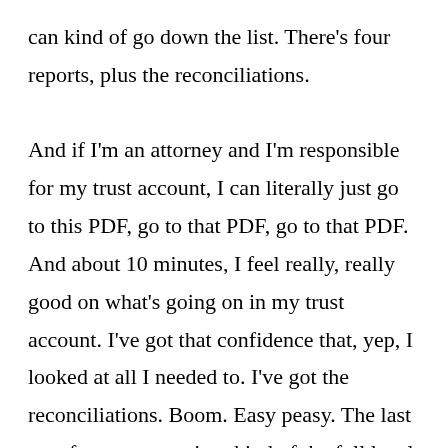can kind of go down the list. There's four reports, plus the reconciliations.

And if I'm an attorney and I'm responsible for my trust account, I can literally just go to this PDF, go to that PDF, go to that PDF. And about 10 minutes, I feel really, really good on what's going on in my trust account. I've got that confidence that, yep, I looked at all I needed to. I've got the reconciliations. Boom. Easy peasy. The last set of reports goes into kind of the full legal accounting side. I think we built this a lot with the personal injury attorney in mind, where you can go... We've